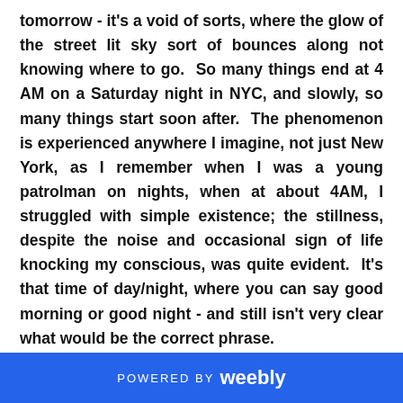tomorrow - it's a void of sorts, where the glow of the street lit sky sort of bounces along not knowing where to go.  So many things end at 4 AM on a Saturday night in NYC, and slowly, so many things start soon after.  The phenomenon is experienced anywhere I imagine, not just New York, as I remember when I was a young patrolman on nights, when at about 4AM, I struggled with simple existence; the stillness, despite the noise and occasional sign of life knocking my conscious, was quite evident.  It's that time of day/night, where you can say good morning or good night - and still isn't very clear what would be the correct phrase.
Anyways, on the spare occasion I drive a taxi in NYC
POWERED BY weebly